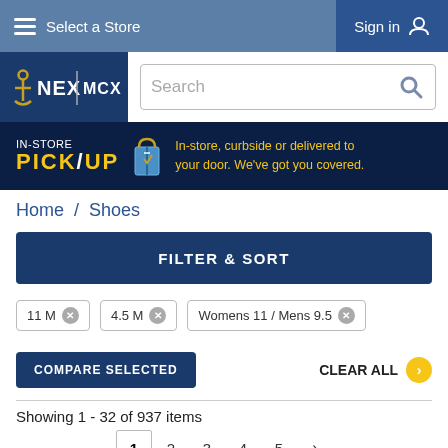Select a Store  Sign in
[Figure (logo): NEX / MCX logo with anchor icon]
Search
[Figure (infographic): IN-STORE PICK/UP banner: In-store, curbside or delivered to your door. We've got you covered.]
Home / Shoes
FILTER & SORT
11 M ×
4.5 M ×
Womens 11 / Mens 9.5 ×
COMPARE SELECTED
CLEAR ALL
Showing 1 - 32 of 937 items
1  2  3  4  5  ›